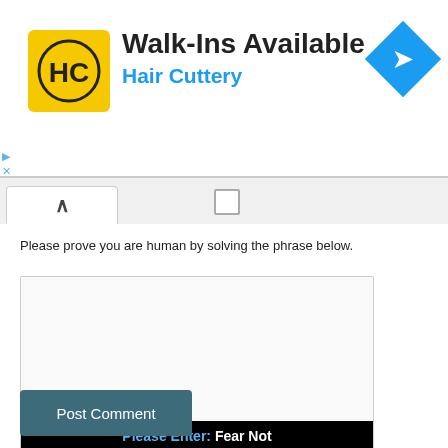[Figure (screenshot): Hair Cuttery advertisement banner with yellow logo showing HC, title 'Walk-Ins Available', subtitle 'Hair Cuttery' in blue, and a blue navigation diamond icon on the right]
Please prove you are human by solving the phrase below.
[Figure (screenshot): CAPTCHA widget with blank image area, black bar reading 'Please Enter: Fear Not', answer input field labeled 'Your Answer', SOLVE media logo, and refresh/audio/help buttons]
Post Comment